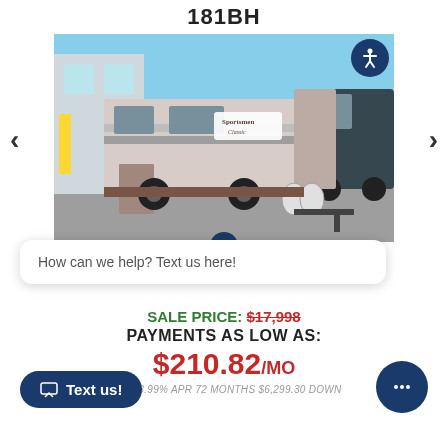181BH
[Figure (photo): Photo of a Sportsmen Classic travel trailer RV parked in a lot, with a dark van visible behind it. The RV is tan/gray colored with horizontal stripes and has a Sportsmen Classic logo on the side.]
How can we help? Text us here!
SALE PRICE: $17,998
PAYMENTS AS LOW AS:
$210.82/MO
+ TAX 8.99% APR 72 MONTHS $6,299.30 DOWN